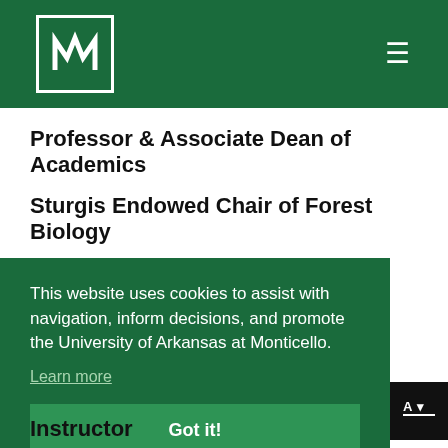UAM logo and navigation
Professor & Associate Dean of Academics
Sturgis Endowed Chair of Forest Biology
ficklin@uamont.edu
Phone: 870-460-1692
This website uses cookies to assist with navigation, inform decisions, and promote the University of Arkansas at Monticello.
Learn more
Got it!
Instructor